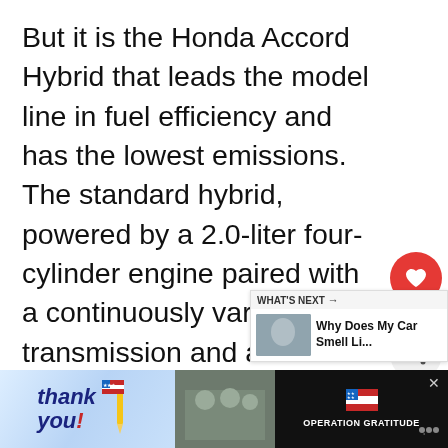But it is the Honda Accord Hybrid that leads the model line in fuel efficiency and has the lowest emissions. The standard hybrid, powered by a 2.0-liter four-cylinder engine paired with a continuously variable transmission and an electric motor, is rated at 50 mpg in the city and 45 mpg on the highway. A plug-in version of the Accord Hybrid is also available, making 47 mpg in the city and 46 on the highway. Moreover, when this model runs on a combination of electricity and gasoline it makes a fuel economy equivalent to a whopping 115
[Figure (screenshot): Advertisement banner at the bottom of the page showing a 'Thank you' military appreciation ad with Operation Gratitude branding]